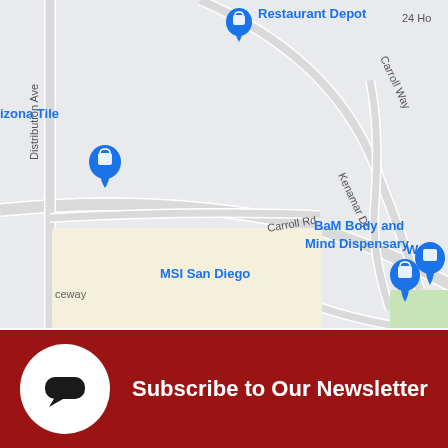[Figure (map): Google Maps screenshot showing Miramar area of San Diego, CA. Shows streets including Carroll Rd, Carroll Way, Kenamar Dr, Distribution Ave. Locations marked include Restaurant Depot, Pure Project, Arizona Tile, Duck Foot Brewing Co. Miramar, BaM Body and Mind Dispensary, Miramar Metroplex, MSI San Diego, and Well. Blue shopping bag pins mark several locations. Orange bar/drink pins mark Pure Project and Duck Foot Brewing.]
Subscribe to Our Newsletter